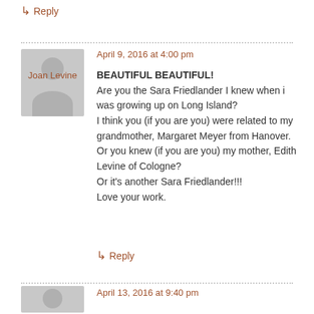↳ Reply
April 9, 2016 at 4:00 pm
Joan Levine
BEAUTIFUL BEAUTIFUL!
Are you the Sara Friedlander I knew when i was growing up on Long Island?
I think you (if you are you) were related to my grandmother, Margaret Meyer from Hanover. Or you knew (if you are you) my mother, Edith Levine of Cologne?
Or it's another Sara Friedlander!!!
Love your work.
↳ Reply
April 13, 2016 at 9:40 pm